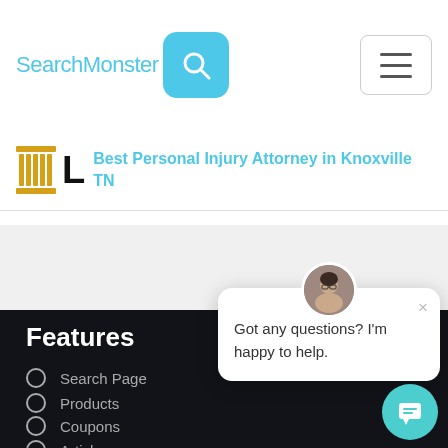SearchMonster
Best Personal Injury Attorney in Knoxville TN
Features
Search Page
Products
Coupons
Articles
Got any questions? I'm happy to help.